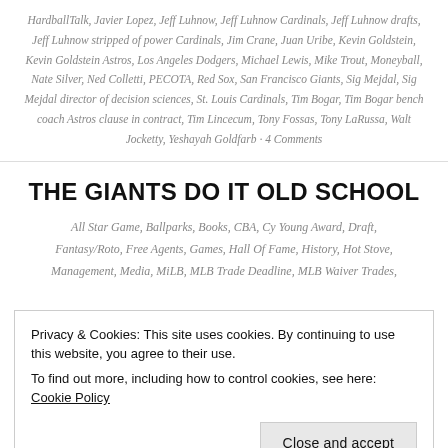HardballTalk, Javier Lopez, Jeff Luhnow, Jeff Luhnow Cardinals, Jeff Luhnow drafts, Jeff Luhnow stripped of power Cardinals, Jim Crane, Juan Uribe, Kevin Goldstein, Kevin Goldstein Astros, Los Angeles Dodgers, Michael Lewis, Mike Trout, Moneyball, Nate Silver, Ned Colletti, PECOTA, Red Sox, San Francisco Giants, Sig Mejdal, Sig Mejdal director of decision sciences, St. Louis Cardinals, Tim Bogar, Tim Bogar bench coach Astros clause in contract, Tim Lincecum, Tony Fossas, Tony LaRussa, Walt Jocketty, Yeshayah Goldfarb · 4 Comments
THE GIANTS DO IT OLD SCHOOL
All Star Game, Ballparks, Books, CBA, Cy Young Award, Draft, Fantasy/Roto, Free Agents, Games, Hall Of Fame, History, Hot Stove, Management, Media, MiLB, MLB Trade Deadline, MLB Waiver Trades,
Privacy & Cookies: This site uses cookies. By continuing to use this website, you agree to their use. To find out more, including how to control cookies, see here: Cookie Policy